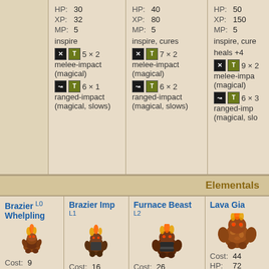| (blank) | Col1 | Col2 | Col3 |
| --- | --- | --- | --- |
| HP: | 30 | 40 | 50 |
| XP: | 32 | 80 | 150 |
| MP: | 5 | 5 | 5 |
|  | inspire | inspire, cures | inspire, cure... |
|  | 5×2 melee-impact (magical) | 7×2 melee-impact (magical) | heals +4  9×2 melee-impa... (magical) |
|  | 6×1 ranged-impact (magical, slows) | 6×2 ranged-impact (magical, slows) | 6×3 ranged-imp... (magical, slo...) |
Elementals
Brazier L0 Brazier Whelpling
Brazier Imp L1
Furnace Beast L2
Lava Gia...
Cost: 9  HP: 20
Cost: 16  HP: 36  XP: 34
Cost: 26  HP: 55  XP: 78
Cost: 44  HP: 72  XP: 150